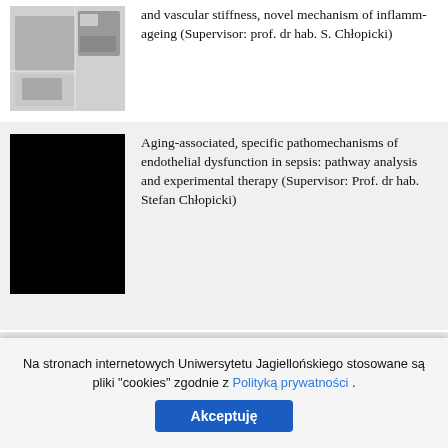[Figure (photo): Laboratory microscope and equipment on a white bench]
and vascular stiffness, novel mechanism of inflamm-ageing (Supervisor: prof. dr hab. S. Chłopicki)
[Figure (photo): Black/dark rectangular image placeholder]
Aging-associated, specific pathomechanisms of endothelial dysfunction in sepsis: pathway analysis and experimental therapy (Supervisor: Prof. dr hab. Stefan Chłopicki)
[Figure (photo): Cryo-EM grid images and a green macromolecule image]
Optimization of macromolecules imaging in Cryo-EM method. (Supervisors: dr hab. Sebastian Glatt / dr Michał Rawski)
Na stronach internetowych Uniwersytetu Jagiellońskiego stosowane są pliki "cookies" zgodnie z Polityką prywatności .
Akceptuję